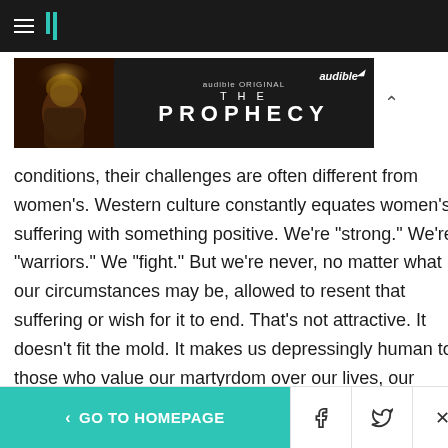HuffPost navigation bar with hamburger menu and logo
[Figure (screenshot): Audible Original advertisement banner for 'The Prophecy' audiobook, dark background with figure image on left, text in center, audible logo top right]
conditions, their challenges are often different from women's. Western culture constantly equates women's suffering with something positive. We're "strong." We're "warriors." We "fight." But we're never, no matter what our circumstances may be, allowed to resent that suffering or wish for it to end. That's not attractive. It doesn't fit the mold. It makes us depressingly human to those who value our martyrdom over our lives, our hopes, and our
< GO TO HOMEPAGE  [Facebook] [Twitter] [X]